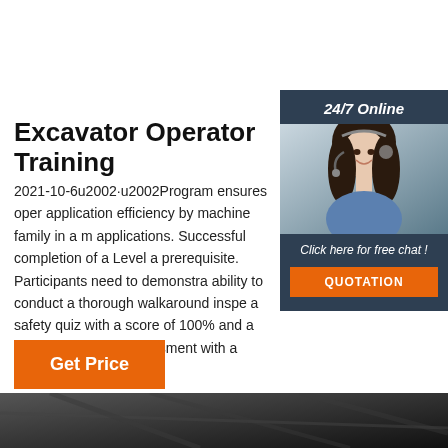Excavator Operator Training
2021-10-6u2002·u2002Program ensures oper application efficiency by machine family in a m applications. Successful completion of a Level a prerequisite. Participants need to demonstra ability to conduct a thorough walkaround inspe a safety quiz with a score of 100% and a writte knowledge assessment with a minimum score
[Figure (photo): Customer support woman wearing headset, smiling, with 24/7 Online label and Click here for free chat / QUOTATION button overlay]
Get Price
[Figure (photo): Dark industrial/excavator image strip at the bottom of the page]